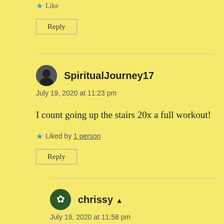★ Like
Reply
SpiritualJourney17
July 19, 2020 at 11:23 pm
I count going up the stairs 20x a full workout!
★ Liked by 1 person
Reply
chrissy ▲
July 19, 2020 at 11:58 pm